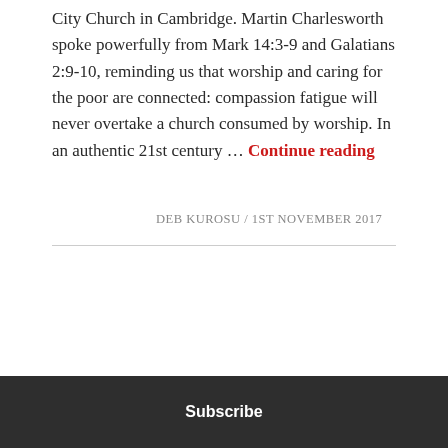City Church in Cambridge. Martin Charlesworth spoke powerfully from Mark 14:3-9 and Galatians 2:9-10, reminding us that worship and caring for the poor are connected: compassion fatigue will never overtake a church consumed by worship. In an authentic 21st century … Continue reading
DEB KUROSU / 1ST NOVEMBER 2017
OLDER POSTS
[Figure (other): A circular button with three dots (ellipsis) inside, outlined with a thin gray border]
Subscribe